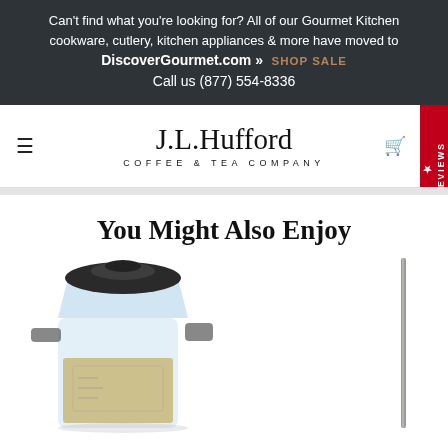Can't find what you're looking for? All of our Gourmet Kitchen cookware, cutlery, kitchen appliances & more have moved to DiscoverGourmet.com » SHOP SALE Call us (877) 554-8336
[Figure (logo): J.L. Hufford Coffee & Tea Company logo with hamburger menu icon and Reviews tab on the right]
You Might Also Enjoy
[Figure (photo): Photo of a blender jar with grains/seeds inside, black lid on top]
[Figure (photo): Partial photo of a thin metallic utensil or needle on the right side]